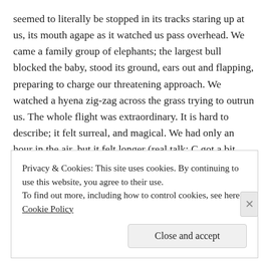seemed to literally be stopped in its tracks staring up at us, its mouth agape as it watched us pass overhead. We came a family group of elephants; the largest bull blocked the baby, stood its ground, ears out and flapping, preparing to charge our threatening approach. We watched a hyena zig-zag across the grass trying to outrun us. The whole flight was extraordinary. It is hard to describe; it felt surreal, and magical. We had only an hour in the air, but it felt longer (real talk: C got a bit tired of it and at 45 minutes sat down in the basket; we also did not see as many animals as I had hoped, but we were in a hot air balloon over the Maasai Mara!!).
Privacy & Cookies: This site uses cookies. By continuing to use this website, you agree to their use. To find out more, including how to control cookies, see here: Cookie Policy
Close and accept